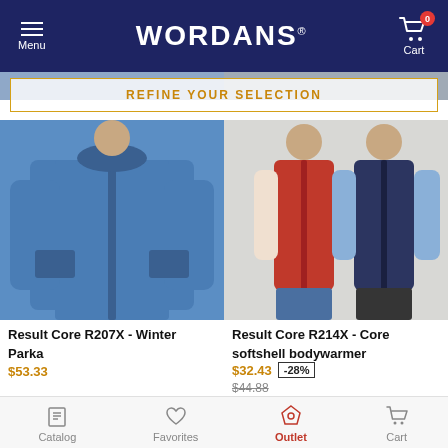WORDANS
REFINE YOUR SELECTION
[Figure (photo): Blue winter parka jacket worn by a person]
Result Core R207X - Winter Parka
$53.33
[Figure (photo): Red softshell bodywarmer vest worn by a woman and navy vest worn by a man]
Result Core R214X - Core softshell bodywarmer
$32.43
$44.88
-28%
[Figure (photo): Person wearing a beanie hat, partially visible]
[Figure (photo): Two people, man and woman, partially visible]
Catalog  Favorites  Outlet  Cart